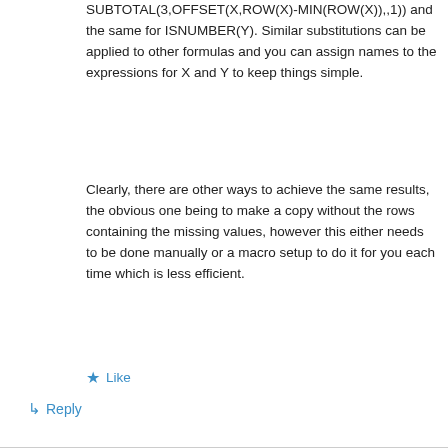SUBTOTAL(3,OFFSET(X,ROW(X)-MIN(ROW(X)),,1)) and the same for ISNUMBER(Y). Similar substitutions can be applied to other formulas and you can assign names to the expressions for X and Y to keep things simple.
Clearly, there are other ways to achieve the same results, the obvious one being to make a copy without the rows containing the missing values, however this either needs to be done manually or a macro setup to do it for you each time which is less efficient.
★ Like
↳ Reply